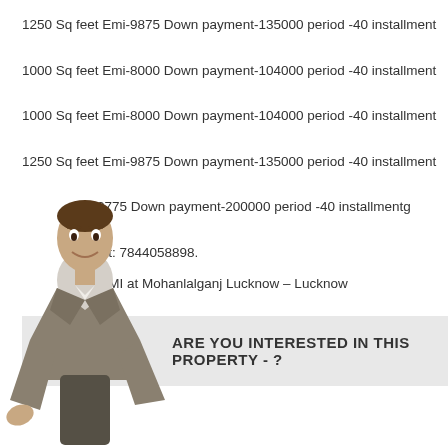1250 Sq feet Emi-9875 Down payment-135000 period -40 installment
1000 Sq feet Emi-8000 Down payment-104000 period -40 installment
1000 Sq feet Emi-8000 Down payment-104000 period -40 installment
1250 Sq feet Emi-9875 Down payment-135000 period -40 installment
i-12775 Down payment-200000 period -40 installmentg
ne at: 7844058898.
sy EMI at Mohanlalganj Lucknow – Lucknow
[Figure (photo): Man in grey suit extending hand for handshake]
ARE YOU INTERESTED IN THIS PROPERTY - ?